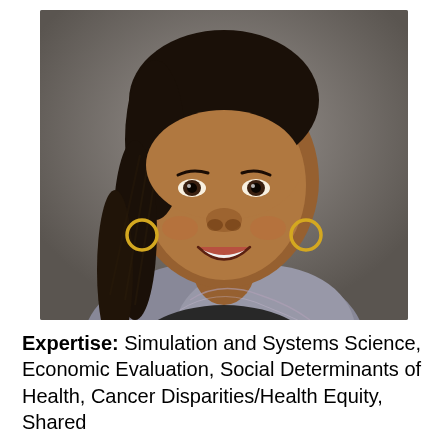[Figure (photo): Professional headshot of a smiling Black woman with long braided hair, gold hoop earrings, wearing a grey patterned scarf/top, photographed against a grey background.]
Expertise: Simulation and Systems Science, Economic Evaluation, Social Determinants of Health, Cancer Disparities/Health Equity, Shared